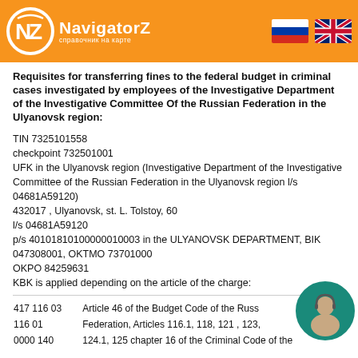[Figure (logo): NavigatorZ logo with orange circle NZ icon and text 'NavigatorZ справочник на карте', with Russian and UK flags on the right]
Requisites for transferring fines to the federal budget in criminal cases investigated by employees of the Investigative Department of the Investigative Committee Of the Russian Federation in the Ulyanovsk region:
TIN 7325101558
checkpoint 732501001
UFK in the Ulyanovsk region (Investigative Department of the Investigative Committee of the Russian Federation in the Ulyanovsk region l/s 04681A59120)
432017 , Ulyanovsk, st. L. Tolstoy, 60
l/s 04681A59120
p/s 40101810100000010003 in the ULYANOVSK DEPARTMENT, BIK 047308001, OKTMO 73701000
OKPO 84259631
KBK is applied depending on the article of the charge:
| 417 116 03 | Article 46 of the Budget Code of the Russ |
| 116 01 | Federation, Articles 116.1, 118, 121 , 123, |
| 0000 140 | 124.1, 125 chapter 16 of the Criminal Code of the |